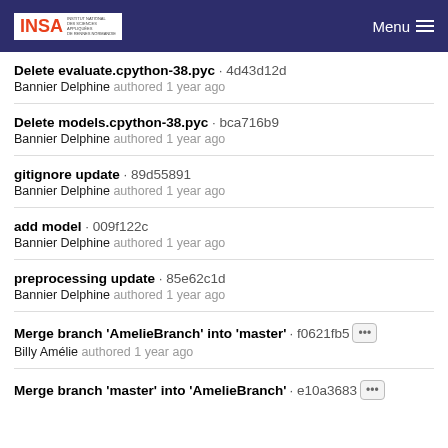INSA | Menu
Delete evaluate.cpython-38.pyc · 4d43d12d
Bannier Delphine authored 1 year ago
Delete models.cpython-38.pyc · bca716b9
Bannier Delphine authored 1 year ago
gitignore update · 89d55891
Bannier Delphine authored 1 year ago
add model · 009f122c
Bannier Delphine authored 1 year ago
preprocessing update · 85e62c1d
Bannier Delphine authored 1 year ago
Merge branch 'AmelieBranch' into 'master' · f0621fb5 ···
Billy Amélie authored 1 year ago
Merge branch 'master' into 'AmelieBranch' · e10a3683 ···